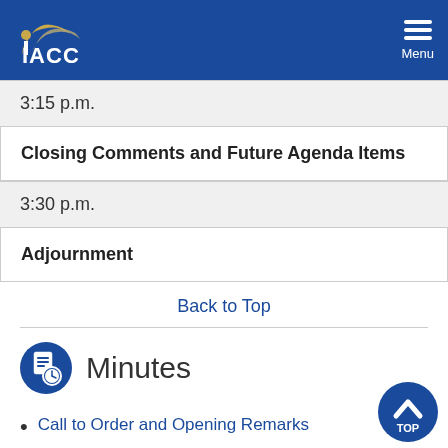IACC Menu
3:15 p.m.
Closing Comments and Future Agenda Items
3:30 p.m.
Adjournment
Back to Top
Minutes
Call to Order and Opening Remarks
Review and Approval: May 12, 2008 IACC Meeting Summary; Summary of Advances